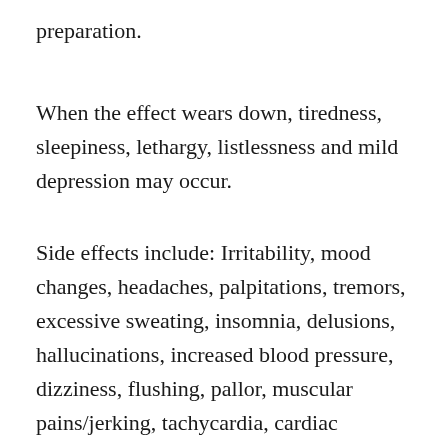preparation.
When the effect wears down, tiredness, sleepiness, lethargy, listlessness and mild depression may occur.
Side effects include: Irritability, mood changes, headaches, palpitations, tremors, excessive sweating, insomnia, delusions, hallucinations, increased blood pressure, dizziness, flushing, pallor, muscular pains/jerking, tachycardia, cardiac arrhythmias, painful urination, gastrointestinal